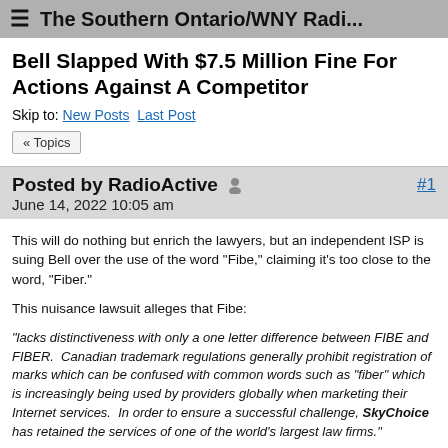≡  The Southern Ontario/WNY Radi...
Bell Slapped With $7.5 Million Fine For Actions Against A Competitor
Skip to: New Posts  Last Post
« Topics
Posted by RadioActive  🧑  #1
June 14, 2022 10:05 am
This will do nothing but enrich the lawyers, but an independent ISP is suing Bell over the use of the word "Fibe," claiming it's too close to the word, "Fiber."
This nuisance lawsuit alleges that Fibe:
"lacks distinctiveness with only a one letter difference between FIBE and FIBER.  Canadian trademark regulations generally prohibit registration of marks which can be confused with common words such as "fiber" which is increasingly being used by providers globally when marketing their Internet services.  In order to ensure a successful challenge, SkyChoice has retained the services of one of the world's largest law firms."